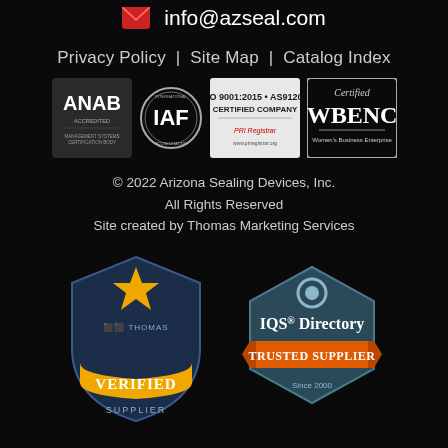info@azseal.com
Privacy Policy  |  Site Map  |  Catalog Index
[Figure (logo): Certification badges: ANAB, IAF, ISO 9001:2015 + AS9120B Certified Company PRI Registrar, Certified WBENC Women's Business Enterprise]
© 2022 Arizona Sealing Devices, Inc.
All Rights Reserved
Site created by Thomas Marketing Services
[Figure (logo): Thomas Verified Supplier badge (shield shape, dark blue with gold star and gold VERIFIED band) and IQS Directory Trusted Supplier badge (hexagon, dark teal with orange ribbon)]